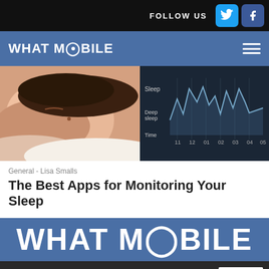FOLLOW US [Twitter] [Facebook]
[Figure (logo): WHAT MOBILE logo with hamburger menu on blue nav bar]
[Figure (photo): Person sleeping on left, sleep tracking app chart on right showing Sleep and Deep sleep over time from 11 to 05]
General - Lisa Smalls
The Best Apps for Monitoring Your Sleep
[Figure (logo): WHAT MOBILE large logo on blue background]
We use cookies to study how our website is being used. By continuing to browse the site you are agreeing to our use of cookies.